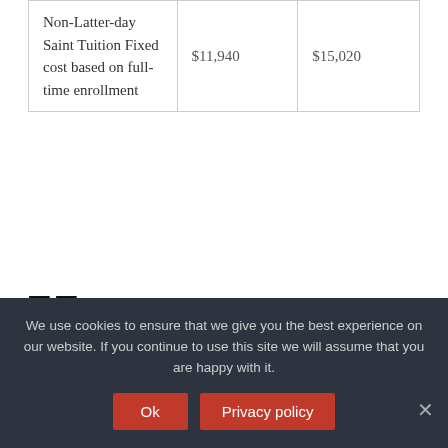| Non-Latter-day Saint Tuition Fixed cost based on full-time enrollment | $11,940 | $15,020 |
How many students at BYU are Mormon?
We use cookies to ensure that we give you the best experience on our website. If you continue to use this site we will assume that you are happy with it.